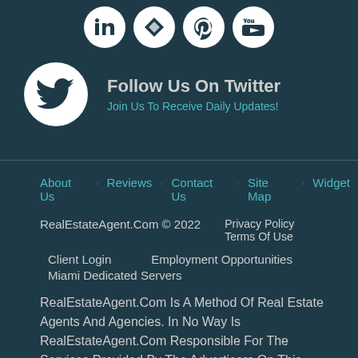[Figure (illustration): Social media icon circles for LinkedIn, another platform, Pinterest, and YouTube displayed in a row]
Follow Us On Twitter
Join Us To Receive Daily Updates!
[Figure (illustration): Twitter bird logo icon in a white circle]
About Us · Reviews · Contact Us · Site Map · Widget
RealEstateAgent.Com © 2022
Privacy Policy
Terms Of Use
Client Login     Employment Opportunities
Miami Dedicated Servers
RealEstateAgent.Com Is A Method Of Real Estate Agents And Agencies. In No Way Is RealEstateAgent.Com Responsible For The Services Provided By The Advertisers On This Site, Nor Can It Be Held Liable For Any Damages Resulting From The Services Provided By Such Advertisers.